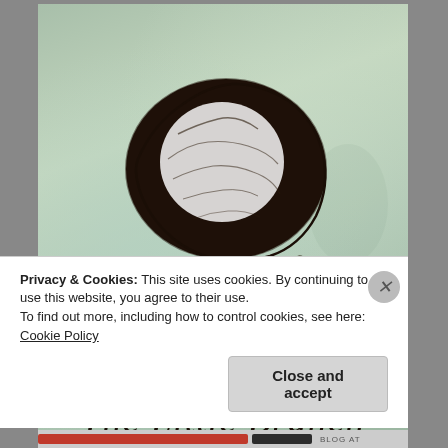[Figure (illustration): Book cover illustration for 'The Little Branch' showing a stylized tree with a large round dark canopy and thin trunk on a mottled green background. The title 'The Little Branch' is written in cursive script at the bottom of the cover.]
Privacy & Cookies: This site uses cookies. By continuing to use this website, you agree to their use.
To find out more, including how to control cookies, see here: Cookie Policy
Close and accept